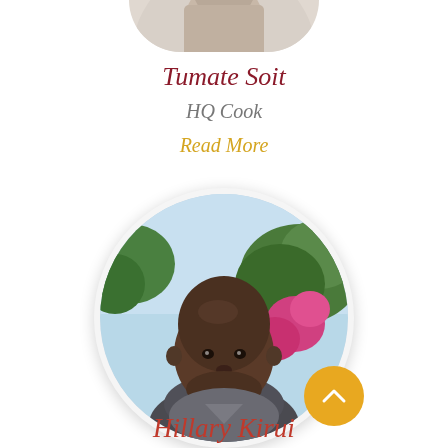[Figure (photo): Circular cropped portrait photo of Tumate Soit, partially visible at top of page]
Tumate Soit
HQ Cook
Read More
[Figure (photo): Circular portrait photo of Hillary Kirui, an African man with shaved head, wearing grey shirt, with pink flowers and blue sky in background]
Hillary Kirui